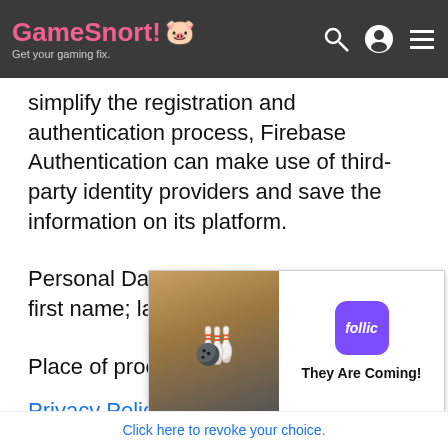GameSnort! 🐷 Get your gaming fix.
simplify the registration and authentication process, Firebase Authentication can make use of third-party identity providers and save the information on its platform.
Personal Data collected: email address; first name; last name.
Place of processing: United States –
Privacy Policy; Privacy Shield; pa[rtially visible]
[Figure (screenshot): Ad banner for 'follic' app showing bowling game imagery with text 'They Are Coming!']
Click here to revoke your choice.